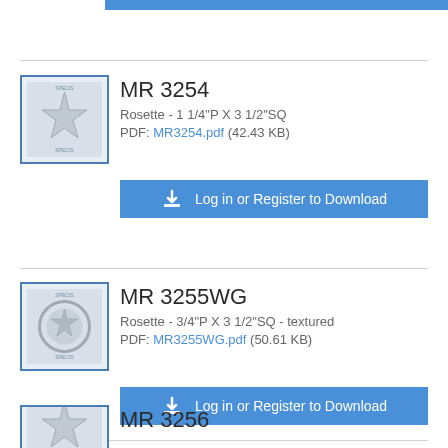[Figure (illustration): Product thumbnail for MR 3254 rosette with star design, blue border]
MR 3254
Rosette - 1 1/4"P X 3 1/2"SQ
PDF: MR3254.pdf (42.43 KB)
Log in or Register to Download
[Figure (illustration): Product thumbnail for MR 3255WG rosette with star and circle design, blue border]
MR 3255WG
Rosette - 3/4"P X 3 1/2"SQ - textured
PDF: MR3255WG.pdf (50.61 KB)
Log in or Register to Download
[Figure (illustration): Product thumbnail for MR 3256, partially visible at bottom]
MR 3256